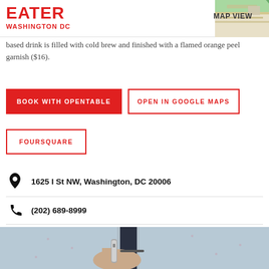EATER WASHINGTON DC
based drink is filled with cold brew and finished with a flamed orange peel garnish ($16).
BOOK WITH OPENTABLE
OPEN IN GOOGLE MAPS
FOURSQUARE
1625 I St NW, Washington, DC 20006
(202) 689-8999
Visit Website
[Figure (photo): A person in a light blue patterned shirt and dark tie holding a small metallic vaping device toward the camera]